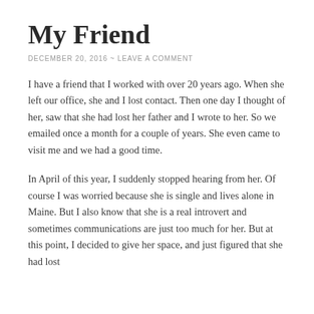My Friend
DECEMBER 20, 2016  ~  LEAVE A COMMENT
I have a friend that I worked with over 20 years ago.  When she left our office, she and I lost contact.  Then one day I thought of her, saw that she had lost her father and I wrote to her.  So we emailed once a month for a couple of years.  She even came to visit me and we had a good time.
In April of this year, I suddenly stopped hearing from her.  Of course I was worried because she is single and lives alone in Maine.  But I also know that she is a real introvert and sometimes communications are just too much for her.  But at this point, I decided to give her space, and just figured that she had lost